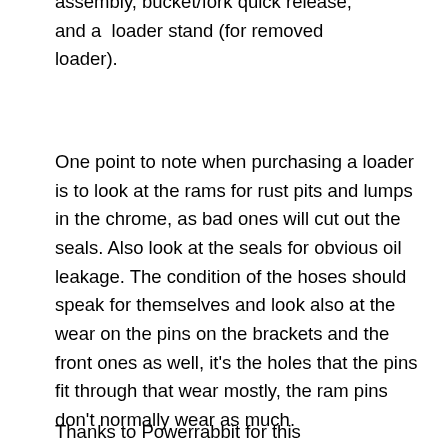assembly, bucket/fork quick release, and a loader stand (for removed loader).
One point to note when purchasing a loader is to look at the rams for rust pits and lumps in the chrome, as bad ones will cut out the seals. Also look at the seals for obvious oil leakage. The condition of the hoses should speak for themselves and look also at the wear on the pins on the brackets and the front ones as well, it's the holes that the pins fit through that wear mostly, the ram pins don't normally wear as much.
Thanks to Powerrabbit for this